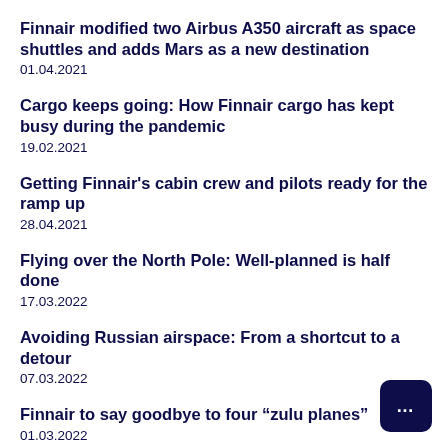Finnair modified two Airbus A350 aircraft as space shuttles and adds Mars as a new destination
01.04.2021
Cargo keeps going: How Finnair cargo has kept busy during the pandemic
19.02.2021
Getting Finnair's cabin crew and pilots ready for the ramp up
28.04.2021
Flying over the North Pole: Well-planned is half done
17.03.2022
Avoiding Russian airspace: From a shortcut to a detour
07.03.2022
Finnair to say goodbye to four “zulu planes”
01.03.2022